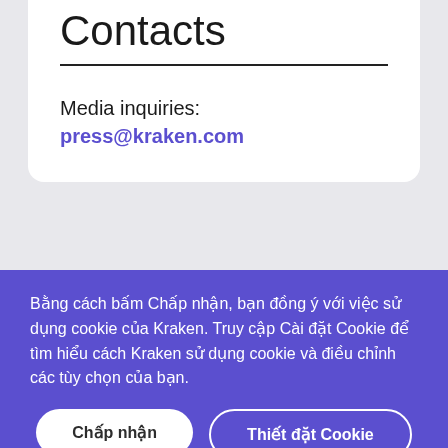Contacts
Media inquiries: press@kraken.com
Inquiries
For interview requests, logos, podcasts or conference appearances, please
Bằng cách bấm Chấp nhận, bạn đồng ý với việc sử dụng cookie của Kraken. Truy cập Cài đặt Cookie để tìm hiểu cách Kraken sử dụng cookie và điều chỉnh các tùy chọn của bạn.
Chấp nhận
Thiết đặt Cookie